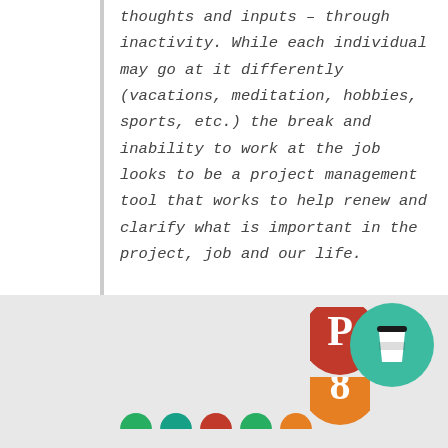thoughts and inputs – through inactivity. While each individual may go at it differently (vacations, meditation, hobbies, sports, etc.) the break and inability to work at the job looks to be a project management tool that works to help renew and clarify what is important in the project, job and our life.
What helps you to rejuvenate and achieve clarity of purpose?
Thank you for visiting.
[Figure (illustration): Social media icons row at bottom (green, teal, red, green, orange circles partially visible) and a teal circle with coffee cup icon]